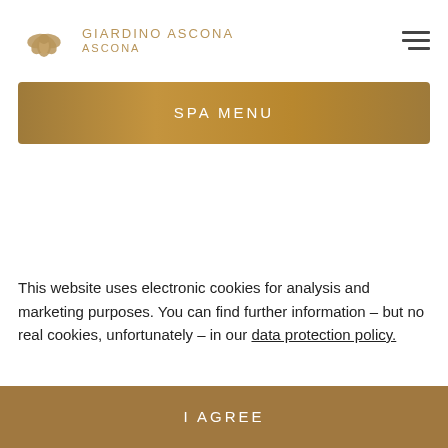GIARDINO ASCONA ASCONA
SPA MENU
This website uses electronic cookies for analysis and marketing purposes. You can find further information – but no real cookies, unfortunately – in our data protection policy.
I AGREE